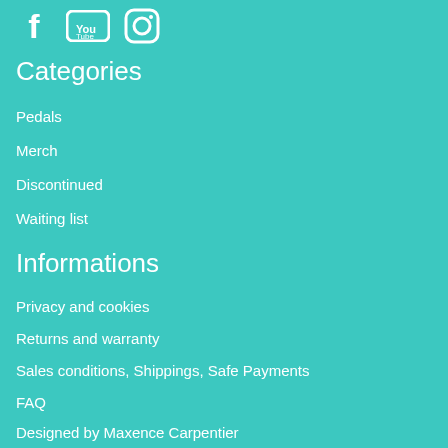[Figure (other): Social media icons: Facebook, YouTube, Instagram]
Categories
Pedals
Merch
Discontinued
Waiting list
Informations
Privacy and cookies
Returns and warranty
Sales conditions, Shippings, Safe Payments
FAQ
Designed by Maxence Carpentier